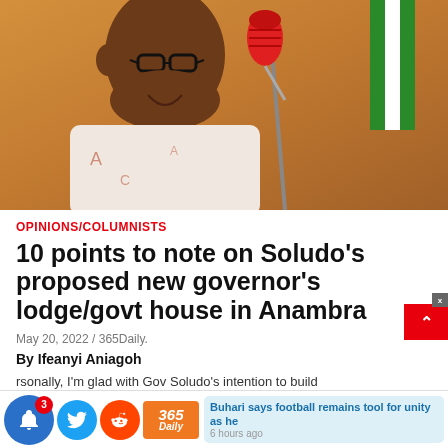[Figure (photo): Man in glasses and patterned white outfit speaking into a red-topped microphone on a stand, Nigerian flag visible in background, warm orange/brown background]
OPINIONS/COLUMNISTS
10 points to note on Soludo's proposed new governor's lodge/govt house in Anambra
May 20, 2022 / 365Daily.
By Ifeanyi Aniagoh
rsonally, I'm glad with Gov Soludo's intention to build
[Figure (infographic): Bottom navigation bar with notification bell (badge 3), Twitter bird icon, Reddit alien icon, 365Daily logo, and related news snippet reading 'Buhari says football remains tool for unity as he' with timestamp '6 hours ago']